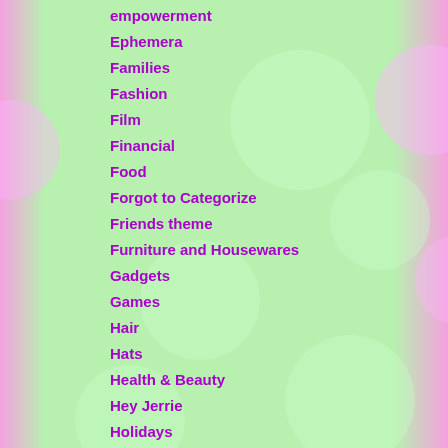empowerment
Ephemera
Families
Fashion
Film
Financial
Food
Forgot to Categorize
Friends theme
Furniture and Housewares
Gadgets
Games
Hair
Hats
Health & Beauty
Hey Jerrie
Holidays
Hollywood
Hot Dog Cookbook
House
Interactivity
Jerrie Thill